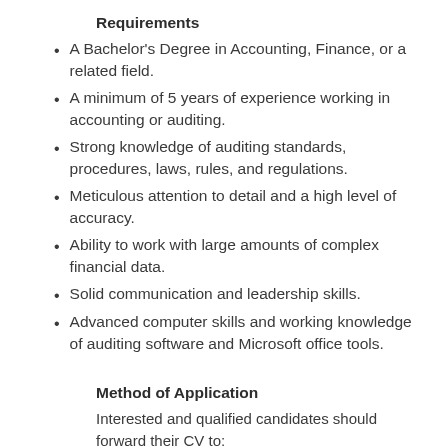Requirements
A Bachelor's Degree in Accounting, Finance, or a related field.
A minimum of 5 years of experience working in accounting or auditing.
Strong knowledge of auditing standards, procedures, laws, rules, and regulations.
Meticulous attention to detail and a high level of accuracy.
Ability to work with large amounts of complex financial data.
Solid communication and leadership skills.
Advanced computer skills and working knowledge of auditing software and Microsoft office tools.
Method of Application
Interested and qualified candidates should forward their CV to: jobs@lingtonandbernie.com using the Job Title